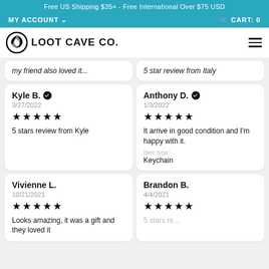Free US Shipping $35+ - Free International Over $75 USD
MY ACCOUNT  CART: 0
LOOT CAVE CO.
my friend also loved it
5 star review from Italy
Kyle B. ✓
3/27/2022
★★★★★
5 stars review from Kyle
Anthony D. ✓
1/3/2022
★★★★★
It arrive in good condition and I'm happy with it.
Item type: Keychain
Vivienne L.
10/21/2021
★★★★★
Looks amazing, it was a gift and they loved it
Brandon B.
4/4/2021
★★★★★